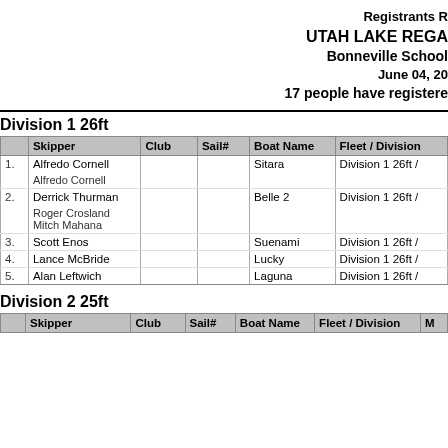Registrants R
UTAH LAKE REGA
Bonneville School
June 04, 20
17 people have registere
Division 1 26ft
|  | Skipper | Club | Sail# | Boat Name | Fleet / Division |
| --- | --- | --- | --- | --- | --- |
| 1. | Alfredo Cornell

Alfredo Cornell |  |  | Sitara | Division 1 26ft / |
| 2. | Derrick Thurman

Roger Crosland
Mitch Mahana |  |  | Belle 2 | Division 1 26ft / |
| 3. | Scott Enos |  |  | Suenami | Division 1 26ft / |
| 4. | Lance McBride |  |  | Lucky | Division 1 26ft / |
| 5. | Alan Leftwich |  |  | Laguna | Division 1 26ft / |
Division 2 25ft
|  | Skipper | Club | Sail# | Boat Name | Fleet / Division | M |
| --- | --- | --- | --- | --- | --- | --- |